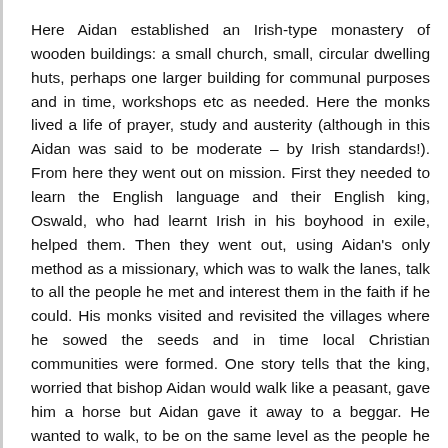Here Aidan established an Irish-type monastery of wooden buildings: a small church, small, circular dwelling huts, perhaps one larger building for communal purposes and in time, workshops etc as needed. Here the monks lived a life of prayer, study and austerity (although in this Aidan was said to be moderate – by Irish standards!). From here they went out on mission. First they needed to learn the English language and their English king, Oswald, who had learnt Irish in his boyhood in exile, helped them. Then they went out, using Aidan's only method as a missionary, which was to walk the lanes, talk to all the people he met and interest them in the faith if he could. His monks visited and revisited the villages where he sowed the seeds and in time local Christian communities were formed. One story tells that the king, worried that bishop Aidan would walk like a peasant, gave him a horse but Aidan gave it away to a beggar. He wanted to walk, to be on the same level as the people he met and no doubt to vary his approach when he